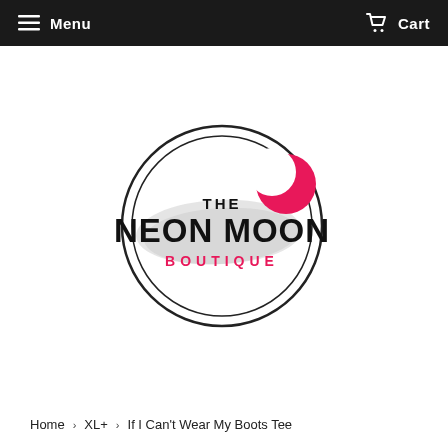Menu   Cart
[Figure (logo): The Neon Moon Boutique logo: a circular black double-ring border with a gray brushstroke background, bold black text 'THE NEON MOON', pink text 'BOUTIQUE', and a pink crescent moon icon in the upper right of the circle.]
Home > XL+ > If I Can't Wear My Boots Tee